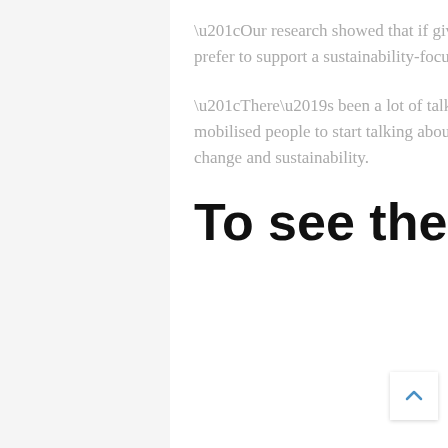“Our research showed that if given a choice, around 86 per cent of consumers would prefer to support a sustainability-focused business over one that wasn’t,” she says.
“There’s been a lot of talk about the war on waste and the recycling crisis, it’s mobilised people to start talking about it, and major events like MICE can be a real driver for change and sustainability.
To see these initiatives for